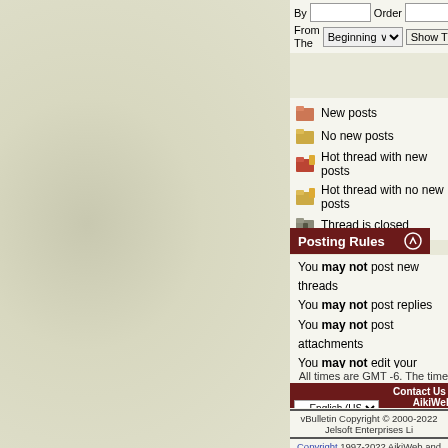By / From The controls with Beginning dropdown and Show Threads button, Order selector
New posts
Hot thread with new posts
No new posts
Hot thread with no new posts
Thread is closed
Posting Rules
You may not post new threads
You may not post replies
You may not post attachments
You may not edit your posts
vB code is On
Smilies are On
[IMG] code is On
HTML code is Off
All times are GMT -6. The time now is 02:00 P
-- English (US)  Contact Us - AikiWeb Aikido Infor Privacy
vBulletin Copyright © 2000-2022 Jelsoft Enterprises Li
Copyright 1997-2022 AikiWeb and its Authors, All Rights R
For questions and comments about this website: Send E-mail